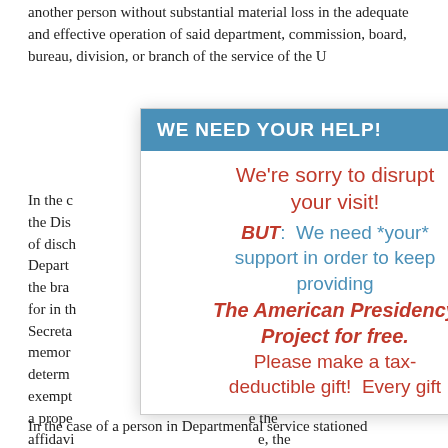another person without substantial material loss in the adequate and effective operation of said department, commission, board, bureau, division, or branch of the service of the U[…]
In the c[…] within the Dis[…] a, claim of disch[…] e. Depart[…] rol of the bra[…] ovided for in th[…] o the Secreta[…] memor[…] tary to determ[…] exempt[…] e case a prope[…] e the affidavi[…] e, the affidavi[…] led with the local board as required by the instructions on the back thereof.
[Figure (infographic): Modal popup overlay with blue header 'WE NEED YOUR HELP!' and body text in red and blue asking for support for The American Presidency Project.]
In the case of a person in Departmental service stationed